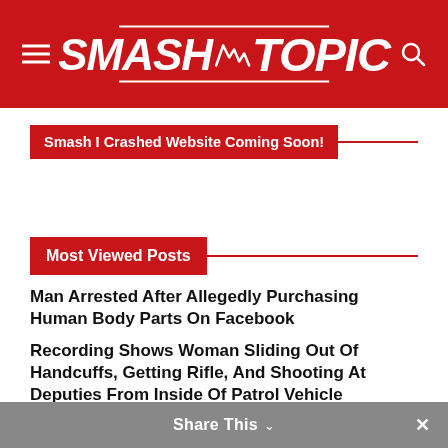SMASHTOPIC
Smash I Crashed Website Coming Soon!
Most Viewed Posts
Man Arrested After Allegedly Purchasing Human Body Parts On Facebook
Recording Shows Woman Sliding Out Of Handcuffs, Getting Rifle, And Shooting At Deputies From Inside Of Patrol Vehicle
Man Headbutts His Father-In-Law To Death Inside Of A Fort Worth Bar
Instructor Of Redlining At John Hopkins University Files Lawsuit
Share This